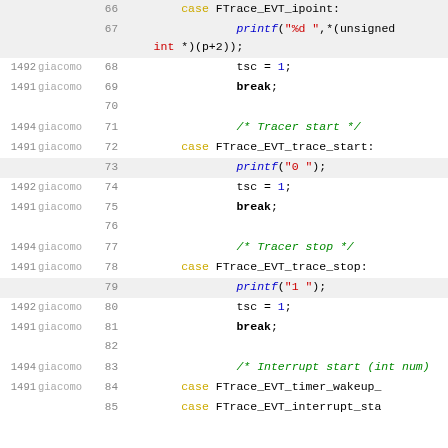[Figure (screenshot): Source code viewer showing lines 66–85 of a C file with syntax highlighting, revision numbers, and author annotations. Lines show switch-case handling for FTrace event types including ipoint, trace_start, trace_stop, and timer_wakeup/interrupt_start cases.]